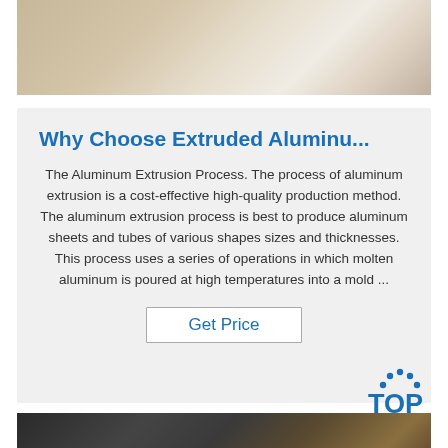[Figure (photo): Photo of aluminum sheets or coils on a pallet in an industrial setting, partially cropped at top.]
Why Choose Extruded Aluminu...
The Aluminum Extrusion Process. The process of aluminum extrusion is a cost-effective high-quality production method. The aluminum extrusion process is best to produce aluminum sheets and tubes of various shapes sizes and thicknesses. This process uses a series of operations in which molten aluminum is poured at high temperatures into a mold ...
Get Price
[Figure (photo): Photo of dark aluminum sheets or panels, partially visible at bottom of page.]
[Figure (logo): TOP logo with dotted arc above the text, in blue color.]